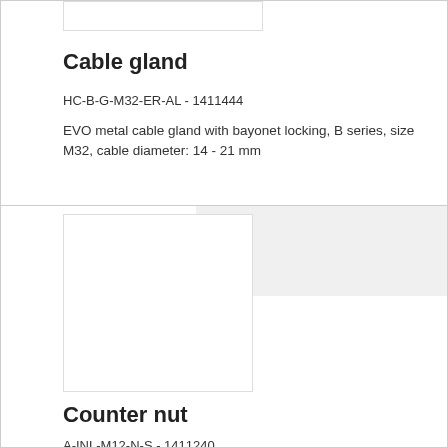[Figure (photo): Product image placeholder for cable gland]
Cable gland
HC-B-G-M32-ER-AL - 1411444
EVO metal cable gland with bayonet locking, B series, size M32, cable diameter: 14 - 21 mm
[Figure (photo): Product image placeholder for counter nut]
Counter nut
A-INL-M12-N-S - 1411240